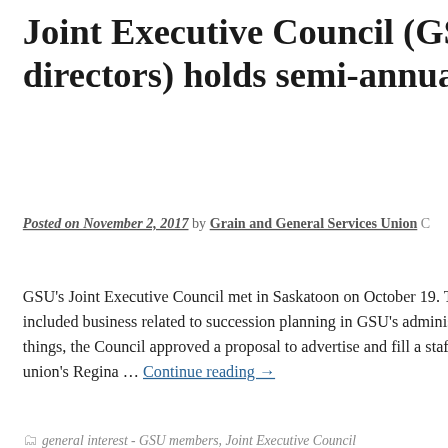Joint Executive Council (GSU's bo directors) holds semi-annual meetin
Posted on November 2, 2017 by Grain and General Services Union C
GSU's Joint Executive Council met in Saskatoon on October 19. T included business related to succession planning in GSU's adminis things, the Council approved a proposal to advertise and fill a staf union's Regina … Continue reading →
general interest - GSU members, Joint Executive Council
GSU
[Figure (photo): Golden grain field photograph strip at bottom of page]